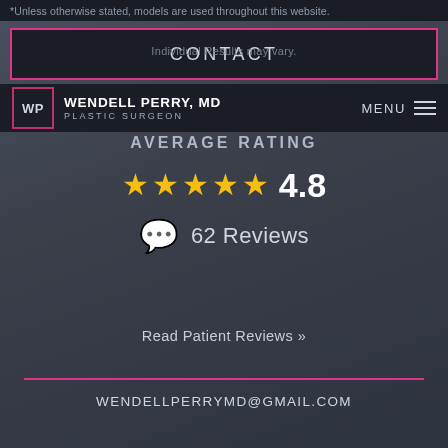*Unless otherwise stated, models are used throughout this website.
Individual Results may vary.
CONTACT
WP WENDELL PERRY, MD PLASTIC SURGEON
AVERAGE RATING
[Figure (infographic): Five gold stars with rating number 4.8]
62 Reviews
Read Patient Reviews »
WENDELLPERRYMD@GMAIL.COM